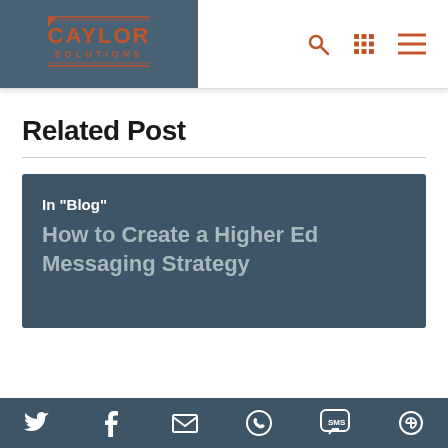[Figure (logo): Caylor Solutions logo — orange/rust text on dark slate blue background]
Related Post
[Figure (illustration): Related post card with dark slate blue background showing category 'In "Blog"' and post title 'How to Create a Higher Ed Messaging Strategy']
Social share bar with Twitter, Facebook, Email, WhatsApp, SMS, and copy-link icons